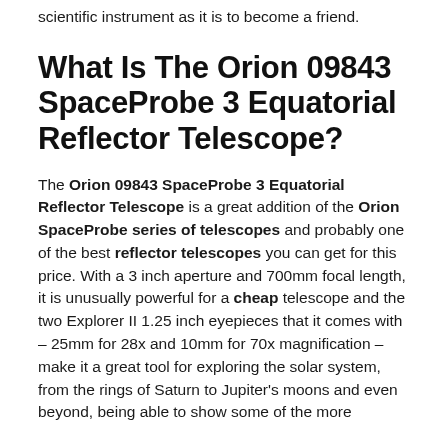scientific instrument as it is to become a friend.
What Is The Orion 09843 SpaceProbe 3 Equatorial Reflector Telescope?
The Orion 09843 SpaceProbe 3 Equatorial Reflector Telescope is a great addition of the Orion SpaceProbe series of telescopes and probably one of the best reflector telescopes you can get for this price. With a 3 inch aperture and 700mm focal length, it is unusually powerful for a cheap telescope and the two Explorer II 1.25 inch eyepieces that it comes with – 25mm for 28x and 10mm for 70x magnification – make it a great tool for exploring the solar system, from the rings of Saturn to Jupiter's moons and even beyond, being able to show some of the more